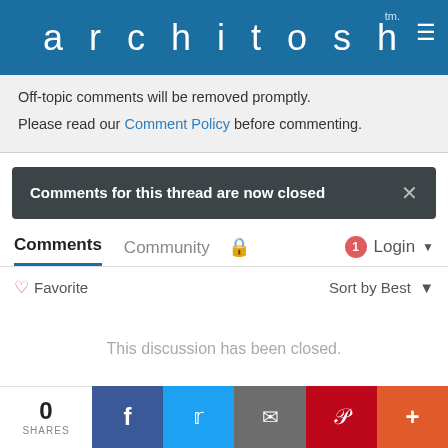[Figure (logo): Architosh website header with logo text 'architosh' and tm mark, hamburger menu icon, on blue background]
Off-topic comments will be removed promptly. Please read our Comment Policy before commenting.
Comments for this thread are now closed
Comments   Community   🔒   1   Login ▾
♡ Favorite   Sort by Best ▾
This discussion has been closed.
[Figure (infographic): Social share bar with 0 SHARES count, and buttons for Facebook, Twitter, Email, Pinterest, and More]